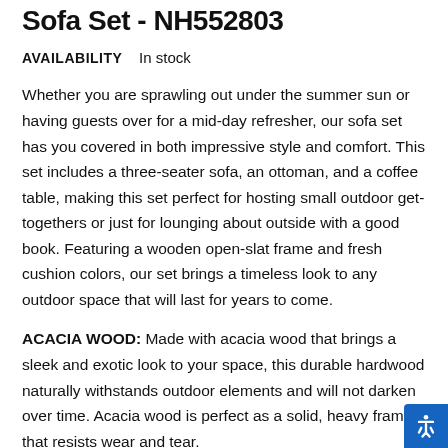Sofa Set - NH552803
AVAILABILITY    In stock
Whether you are sprawling out under the summer sun or having guests over for a mid-day refresher, our sofa set has you covered in both impressive style and comfort. This set includes a three-seater sofa, an ottoman, and a coffee table, making this set perfect for hosting small outdoor get-togethers or just for lounging about outside with a good book. Featuring a wooden open-slat frame and fresh cushion colors, our set brings a timeless look to any outdoor space that will last for years to come.
ACACIA WOOD: Made with acacia wood that brings a sleek and exotic look to your space, this durable hardwood naturally withstands outdoor elements and will not darken over time. Acacia wood is perfect as a solid, heavy frame that resists wear and tear.
WATER-RESISTANT CUSHIONS: Our cushions are covered with a non-porous material that makes cleaning any spills a breeze so you can spend all summer lounging outdoors in comfort. Please note